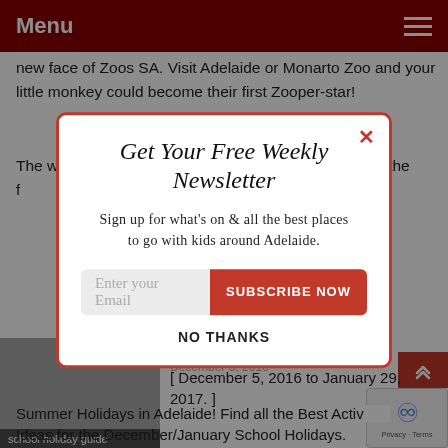Menu
new face of Zoos SA. Visit Adelaide or Monarto Zoo and your little monkey could become their first Zooper-star!
[Figure (logo): SUMO badge/logo with crown icon]
The winner of the Zooperstar competition will become the f...
[Figure (screenshot): Newsletter subscription modal popup with title 'Get Your Free Weekly Newsletter', subtitle 'Sign up for what's on & all the best places to go with kids around Adelaide.', email input field, SUBSCRIBE NOW button, and NO THANKS link]
[ December 5, 2016 to January 29, 2017. ]
Summer Holidays in Adelaide! Find all the Best Activities Ideas for the December/January School Holidays.